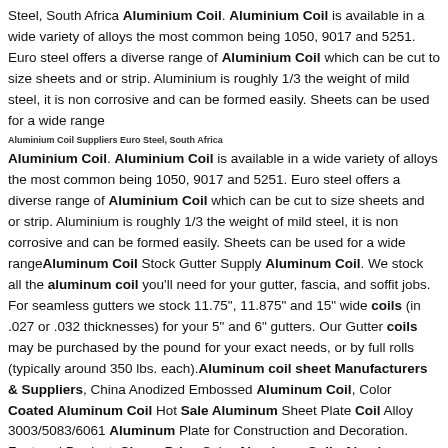Steel, South Africa Aluminium Coil. Aluminium Coil is available in a wide variety of alloys the most common being 1050, 9017 and 5251. Euro steel offers a diverse range of Aluminium Coil which can be cut to size sheets and or strip. Aluminium is roughly 1/3 the weight of mild steel, it is non corrosive and can be formed easily. Sheets can be used for a wide range
Aluminium Coil Suppliers Euro Steel, South Africa
Aluminium Coil. Aluminium Coil is available in a wide variety of alloys the most common being 1050, 9017 and 5251. Euro steel offers a diverse range of Aluminium Coil which can be cut to size sheets and or strip. Aluminium is roughly 1/3 the weight of mild steel, it is non corrosive and can be formed easily. Sheets can be used for a wide rangeAluminum Coil Stock Gutter Supply Aluminum Coil. We stock all the aluminum coil you'll need for your gutter, fascia, and soffit jobs. For seamless gutters we stock 11.75", 11.875" and 15" wide coils (in .027 or .032 thicknesses) for your 5" and 6" gutters. Our Gutter coils may be purchased by the pound for your exact needs, or by full rolls (typically around 350 lbs. each).Aluminum coil sheet Manufacturers & Suppliers, China Anodized Embossed Aluminum Coil, Color Coated Aluminum Coil Hot Sale Aluminum Sheet Plate Coil Alloy 3003/5083/6061 Aluminum Plate for Construction and Decoration. Featured Product. Cheap Price Color Aluminum Coils Aluminum Sheet Made in China.
Sorted:Sargent Wire Ebin...